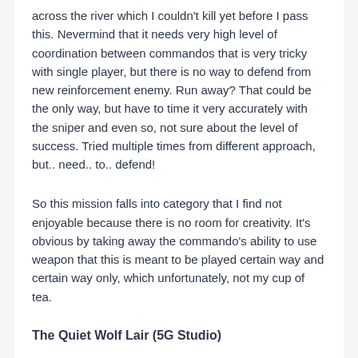across the river which I couldn't kill yet before I pass this. Nevermind that it needs very high level of coordination between commandos that is very tricky with single player, but there is no way to defend from new reinforcement enemy. Run away? That could be the only way, but have to time it very accurately with the sniper and even so, not sure about the level of success. Tried multiple times from different approach, but.. need.. to.. defend!
So this mission falls into category that I find not enjoyable because there is no room for creativity. It's obvious by taking away the commando's ability to use weapon that this is meant to be played certain way and certain way only, which unfortunately, not my cup of tea.
The Quiet Wolf Lair (5G Studio)
Luckily, there is this one to cure the previous disappointment. Thief and Sapper team up again to wreck havoc in night setting. I play a mission in day setting before (will recall the mission name probably soon). I enjoy this one, using various way and tactic to clear the area without setting the alarm before you need to. Since the perimeter of the wall is very close with outside area, I was using the baiting system